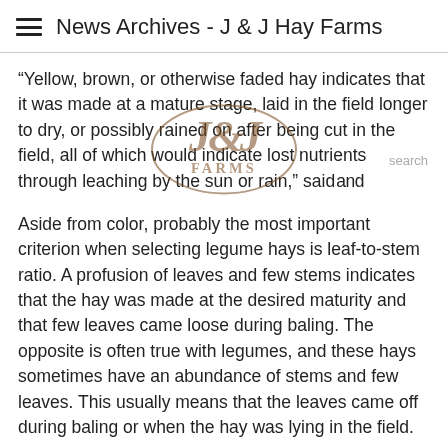News Archives - J & J Hay Farms
“Yellow, brown, or otherwise faded hay indicates that it was made at a mature stage, laid in the field longer to dry, or possibly rained on after being cut in the field, all of which would indicate lost nutrients through leaching by the sun or rain,” said…
[Figure (logo): J&J Farms logo watermark, brown ornate script with interlocking J letters and FARMS text]
Aside from color, probably the most important criterion when selecting legume hays is leaf-to-stem ratio. A profusion of leaves and few stems indicates that the hay was made at the desired maturity and that few leaves came loose during baling. The opposite is often true with legumes, and these hays sometimes have an abundance of stems and few leaves. This usually means that the leaves came off during baling or when the hay was lying in the field.